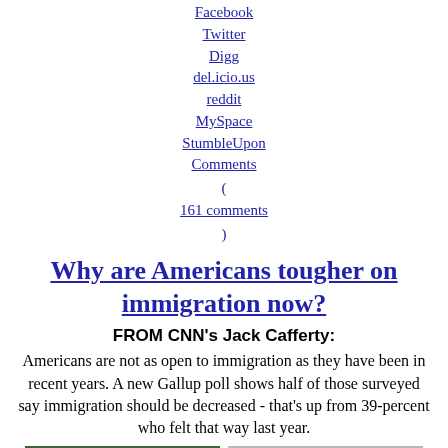Facebook
Twitter
Digg
del.icio.us
reddit
MySpace
StumbleUpon
Comments (161 comments)
Why are Americans tougher on immigration now?
FROM CNN's Jack Cafferty:
Americans are not as open to immigration as they have been in recent years. A new Gallup poll shows half of those surveyed say immigration should be decreased - that's up from 39-percent who felt that way last year.
[Figure (photo): Two signs reading 'I AM IMMIGRANT AMERICA REFORM NOT RAIDS' — one against green foliage background, one against a building background]